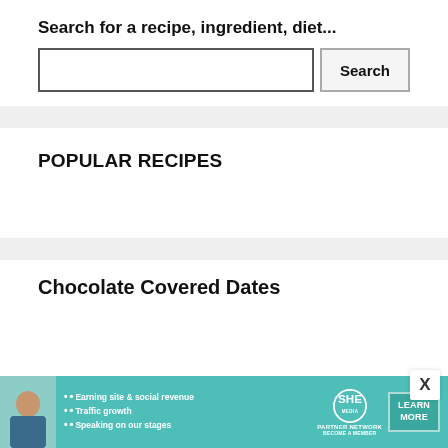Search for a recipe, ingredient, diet...
[Figure (screenshot): Search input box with empty text field and Search button]
POPULAR RECIPES
Chocolate Covered Dates
[Figure (infographic): SHE Partner Network advertisement banner with photo, bullet points about earning site & social revenue, traffic growth, speaking on our stages, SHE Partner Network logo, and Learn More button]